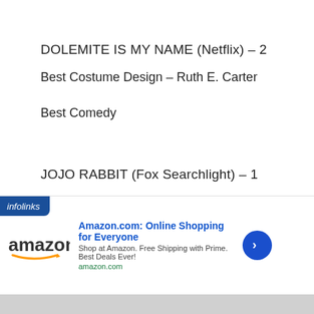DOLEMITE IS MY NAME (Netflix) – 2
Best Costume Design – Ruth E. Carter
Best Comedy
JOJO RABBIT (Fox Searchlight) – 1
Best Young Actor/Actress – Roman Griffin Davis
[Figure (screenshot): Amazon.com advertisement banner with infolinks label, Amazon logo, ad title 'Amazon.com: Online Shopping for Everyone', subtitle 'Shop at Amazon. Free Shipping with Prime. Best Deals Ever!', url 'amazon.com', close button and arrow button]